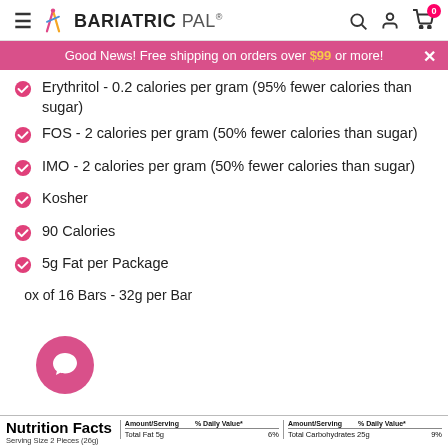BariatricPal
Good News! Free shipping on orders over $99 or more!
Erythritol - 0.2 calories per gram (95% fewer calories than sugar)
FOS - 2 calories per gram (50% fewer calories than sugar)
IMO - 2 calories per gram (50% fewer calories than sugar)
Kosher
90 Calories
5g Fat per Package
Box of 16 Bars - 32g per Bar
|  | Amount/Serving | % Daily Value* | Amount/Serving | % Daily Value* |
| --- | --- | --- | --- | --- |
| Total Fat 5g |  | 6% | Total Carbohydrates 25g | 9% |